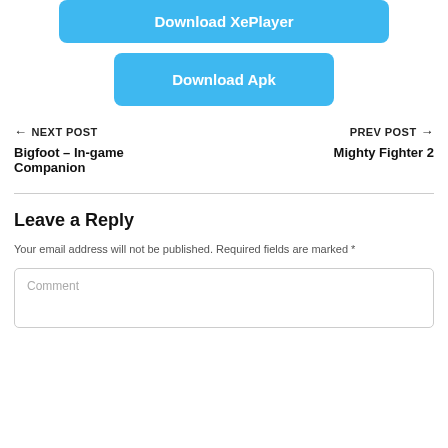[Figure (other): Blue download button labeled 'Download XePlayer']
[Figure (other): Blue download button labeled 'Download Apk']
← NEXT POST
PREV POST →
Bigfoot – In-game Companion
Mighty Fighter 2
Leave a Reply
Your email address will not be published. Required fields are marked *
Comment